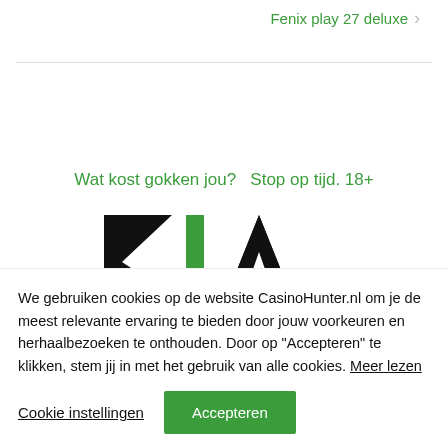Fenix play 27 deluxe >
Wat kost gokken jou?   Stop op tijd. 18+
[Figure (logo): KJA logo in black and green lettering]
We gebruiken cookies op de website CasinoHunter.nl om je de meest relevante ervaring te bieden door jouw voorkeuren en herhaalbezoeken te onthouden. Door op "Accepteren" te klikken, stem jij in met het gebruik van alle cookies. Meer lezen
Cookie instellingen
Accepteren